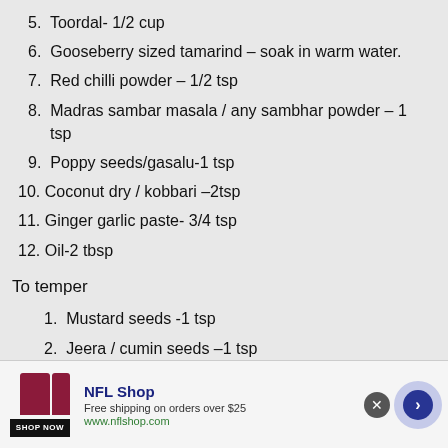5. Toordal- 1/2 cup
6. Gooseberry sized tamarind – soak in warm water.
7. Red chilli powder – 1/2 tsp
8. Madras sambar masala / any sambhar powder – 1 tsp
9. Poppy seeds/gasalu-1 tsp
10. Coconut dry / kobbari –2tsp
11. Ginger garlic paste- 3/4 tsp
12. Oil-2 tbsp
To temper
1. Mustard seeds -1 tsp
2. Jeera / cumin seeds –1 tsp
3. Hing -2 pinches
4. Red chillies – 1 no ( pinched to two)